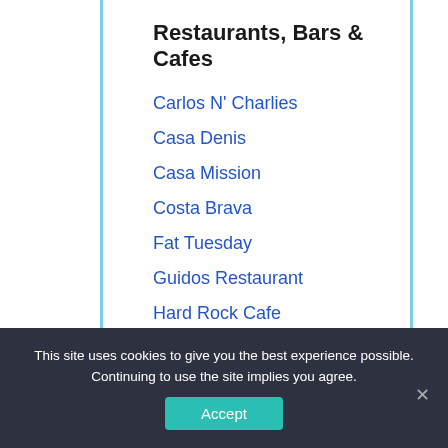Restaurants, Bars & Cafes
Carlos N' Charlies
Casa Denis
Casa Mission
Costa Brava
Fat Tuesday
Guidos Restaurant
Hard Rock Cafe
La Cocay
La Veranda
Las Tortugas
Mezcalito's
This site uses cookies to give you the best experience possible. Continuing to use the site implies you agree.